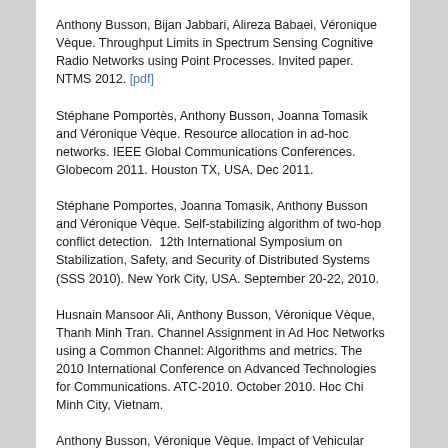Anthony Busson, Bijan Jabbari, Alireza Babaei, Véronique Vèque. Throughput Limits in Spectrum Sensing Cognitive Radio Networks using Point Processes. Invited paper. NTMS 2012. [pdf]
Stéphane Pomportès, Anthony Busson, Joanna Tomasik and Véronique Vèque. Resource allocation in ad-hoc networks. IEEE Global Communications Conferences. Globecom 2011. Houston TX, USA. Dec 2011.
Stéphane Pomportes, Joanna Tomasik, Anthony Busson and Véronique Vèque. Self-stabilizing algorithm of two-hop conflict detection.  12th International Symposium on Stabilization, Safety, and Security of Distributed Systems (SSS 2010). New York City, USA. September 20-22, 2010.
Husnain Mansoor Ali, Anthony Busson, Véronique Vèque, Thanh Minh Tran. Channel Assignment in Ad Hoc Networks using a Common Channel: Algorithms and metrics. The 2010 International Conference on Advanced Technologies for Communications. ATC-2010. October 2010. Hoc Chi Minh City, Vietnam.
Anthony Busson, Véronique Vèque. Impact of Vehicular Traffic